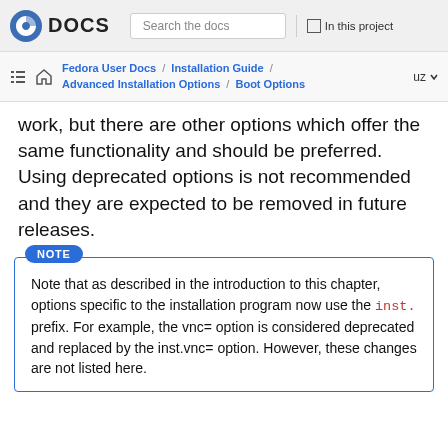Fedora DOCS | Search the docs | In this project
Fedora User Docs / Installation Guide / Advanced Installation Options / Boot Options | uz
work, but there are other options which offer the same functionality and should be preferred. Using deprecated options is not recommended and they are expected to be removed in future releases.
NOTE
Note that as described in the introduction to this chapter, options specific to the installation program now use the inst. prefix. For example, the vnc= option is considered deprecated and replaced by the inst.vnc= option. However, these changes are not listed here.